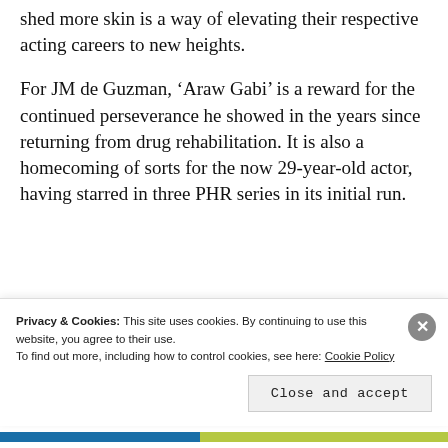shed more skin is a way of elevating their respective acting careers to new heights.
For JM de Guzman, ‘Araw Gabi’ is a reward for the continued perseverance he showed in the years since returning from drug rehabilitation. It is also a homecoming of sorts for the now 29-year-old actor, having starred in three PHR series in its initial run.
Privacy & Cookies: This site uses cookies. By continuing to use this website, you agree to their use.
To find out more, including how to control cookies, see here: Cookie Policy
Close and accept